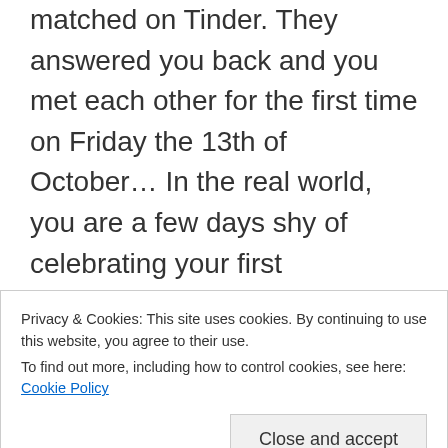matched on Tinder. They answered you back and you met each other for the first time on Friday the 13th of October… In the real world, you are a few days shy of celebrating your first anniversary together… That same evening in this flat you listened to Lady Gaga because you had a sudden melancholy to her widely unacclaimed album 'Artpop'. Today a movie with Lady Gaga enters cinemas and guess what… It's a love story and she's probably gonna win an Oscar for it. These are not
Privacy & Cookies: This site uses cookies. By continuing to use this website, you agree to their use.
To find out more, including how to control cookies, see here: Cookie Policy